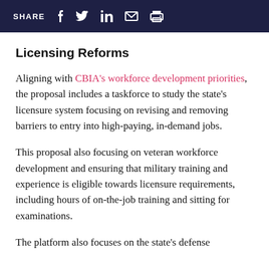SHARE
Licensing Reforms
Aligning with CBIA's workforce development priorities, the proposal includes a taskforce to study the state's licensure system focusing on revising and removing barriers to entry into high-paying, in-demand jobs.
This proposal also focusing on veteran workforce development and ensuring that military training and experience is eligible towards licensure requirements, including hours of on-the-job training and sitting for examinations.
The platform also focuses on the state's defense